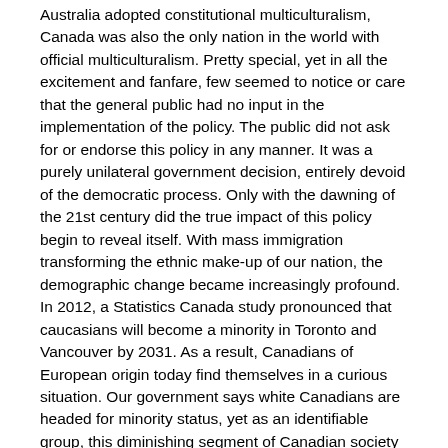Australia adopted constitutional multiculturalism, Canada was also the only nation in the world with official multiculturalism. Pretty special, yet in all the excitement and fanfare, few seemed to notice or care that the general public had no input in the implementation of the policy. The public did not ask for or endorse this policy in any manner. It was a purely unilateral government decision, entirely devoid of the democratic process. Only with the dawning of the 21st century did the true impact of this policy begin to reveal itself. With mass immigration transforming the ethnic make-up of our nation, the demographic change became increasingly profound. In 2012, a Statistics Canada study pronounced that caucasians will become a minority in Toronto and Vancouver by 2031. As a result, Canadians of European origin today find themselves in a curious situation. Our government says white Canadians are headed for minority status, yet as an identifiable group, this diminishing segment of Canadian society lack a defined communal identity. This is all quite understandable, as in the past there